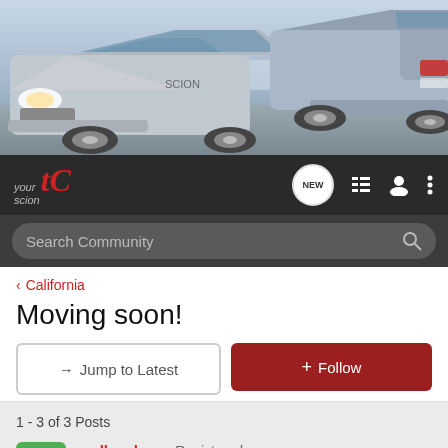[Figure (photo): Two silver Scion tC cars photographed from front-left and rear-right angles on a beach/coastal setting]
[Figure (screenshot): yourScionTC forum navigation bar with logo, NEW bubble, list icon, user icon, and dots menu icon]
[Figure (screenshot): Search Community bar with magnifying glass icon]
< California
Moving soon!
→ Jump to Latest
+ Follow
1 - 3 of 3 Posts
cmlloveless · Registered
Joined Jan 20, 2005 · 145 Posts